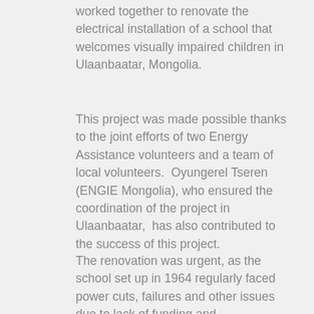worked together to renovate the electrical installation of a school that welcomes visually impaired children in Ulaanbaatar, Mongolia.
This project was made possible thanks to the joint efforts of two Energy Assistance volunteers and a team of local volunteers.  Oyungerel Tseren (ENGIE Mongolia), who ensured the coordination of the project in Ulaanbaatar,  has also contributed to the success of this project.
The renovation was urgent, as the school set up in 1964 regularly faced power cuts, failures and other issues due to lack of funding and maintenance. Children and school staff also faced security risks because of the poor electrical installation.
Besides the main switchboard, the volunteers also replaced distribution boards on each of the three school floors. Afterwards, they renovated the electrical wiring of the attic where the district installation is. In Ulaanbaatar, outdoor